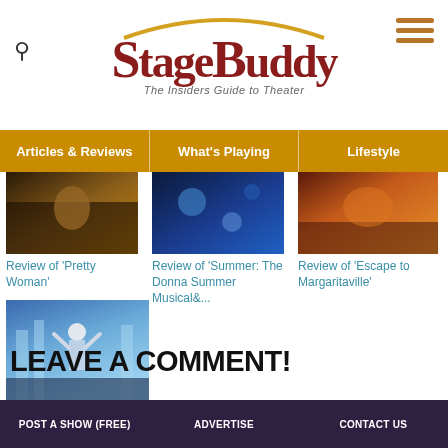StageBuddy — The Insiders Guide to Theater
Articles & Reviews | What's Playing | Lifestyle
[Figure (screenshot): Thumbnail image for Review of Pretty Woman musical]
Review of 'Pretty Woman'
[Figure (screenshot): Thumbnail image for Review of Summer: The Donna Summer Musical]
Review of 'Summer: The Donna Summer Musical&...
[Figure (screenshot): Thumbnail image for Review of Escape to Margaritaville]
Review of 'Escape to Margaritaville'
[Figure (screenshot): Thumbnail image for Review of Frozen musical showing performer in icy costume]
Review of 'Frozen'
LEAVE A COMMENT!
POST A SHOW (FREE)   ADVERTISE   CONTACT US